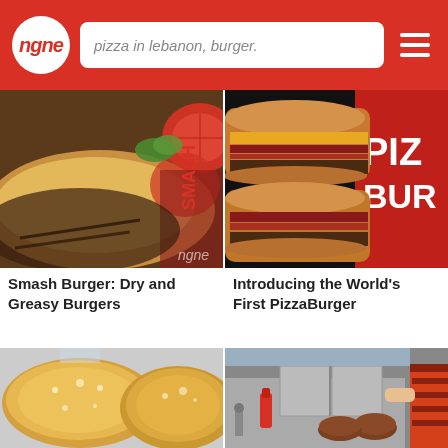ngne — pizza in lebanon, burger.
[Figure (photo): Close-up photo of a smash burger patty with melted cheese, tomatoes, and parchment wrapping with red branding text]
Smash Burger: Dry and Greasy Burgers
[Figure (photo): Photo of stacked PizzaBurger sandwiches with bacon and cheese on a dark background with red PIZ BUR text logo]
Introducing the World's First PizzaBurger
[Figure (photo): Photo of round bread rolls dusted with flour on a white surface]
[Figure (photo): Photo of a flat grill with burger patties cooking and kitchen equipment in the background]